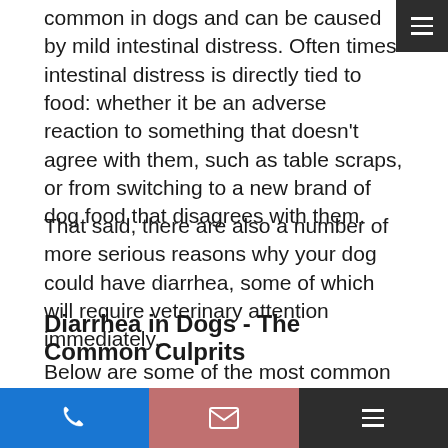common in dogs and can be caused by mild intestinal distress. Often times intestinal distress is directly tied to food: whether it be an adverse reaction to something that doesn't agree with them, such as table scraps, or from switching to a new brand of dog food that disagrees with them.
That said, there are also a number of more serious reasons why your dog could have diarrhea, some of which will require veterinary attention immediately.
Diarrhea in Dogs - The Common Culprits
Below are some of the most common reasons for diarrhea in dogs:
Stress or anxiety